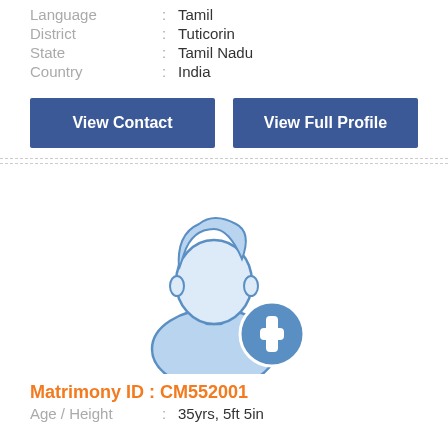Language : Tamil
District : Tuticorin
State : Tamil Nadu
Country : India
View Contact
View Full Profile
[Figure (illustration): Male user avatar placeholder icon with a blue plus/add circle badge in the bottom right corner]
Matrimony ID : CM552001
Age / Height : 35yrs, 5ft 5in